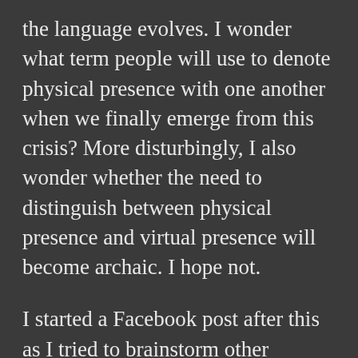the language evolves. I wonder what term people will use to denote physical presence with one another when we finally emerge from this crisis? More disturbingly, I also wonder whether the need to distinguish between physical presence and virtual presence will become archaic. I hope not.
I started a Facebook post after this as I tried to brainstorm other meanings that were shifting during these times, but didn't come up with much yet, other than: